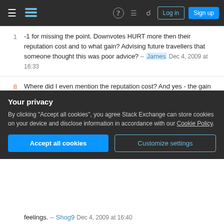Stack Exchange navigation bar with logo, help, chat, search, log in, sign up
-1 for missing the point. Downvotes HURT more then their reputation cost and to what gain? Advising future travellers that someone thought this was poor advice? – James Dec 4, 2009 at 16:33
8 Where did I even mention the reputation cost? And yes - the gain is to advise other people that this is bad advice. That's more important to me than your fragile ego, I'm afraid. We all get things wrong every so often - why wouldn't you want those mistakes to be pointed out? – Jon Skeet Dec 4, 2009 at 16:38
9 (And if you feel so strongly that downvotes are a bad ... feelings. – Shog9 Dec 4, 2009 at 16:40
Your privacy
By clicking "Accept all cookies", you agree Stack Exchange can store cookies on your device and disclose information in accordance with our Cookie Policy.
Accept all cookies | Customize settings